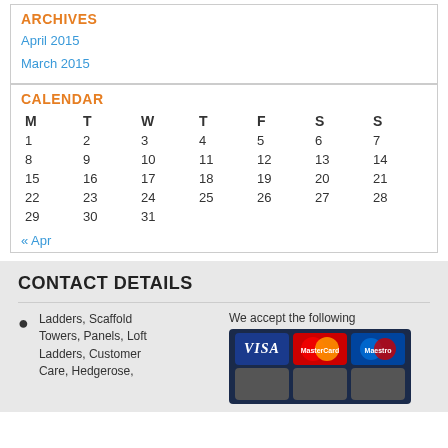ARCHIVES
April 2015
March 2015
CALENDAR
| M | T | W | T | F | S | S |
| --- | --- | --- | --- | --- | --- | --- |
| 1 | 2 | 3 | 4 | 5 | 6 | 7 |
| 8 | 9 | 10 | 11 | 12 | 13 | 14 |
| 15 | 16 | 17 | 18 | 19 | 20 | 21 |
| 22 | 23 | 24 | 25 | 26 | 27 | 28 |
| 29 | 30 | 31 |  |  |  |  |
« Apr
CONTACT DETAILS
Ladders, Scaffold Towers, Panels, Loft Ladders, Customer Care, Hedgerose,
We accept the following